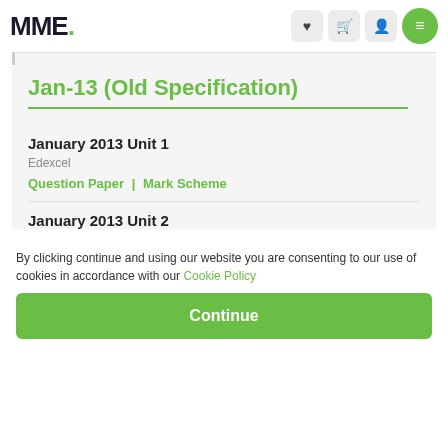MME.
Jan-13 (Old Specification)
January 2013 Unit 1
Edexcel
Question Paper | Mark Scheme
January 2013 Unit 2
By clicking continue and using our website you are consenting to our use of cookies in accordance with our Cookie Policy
Continue